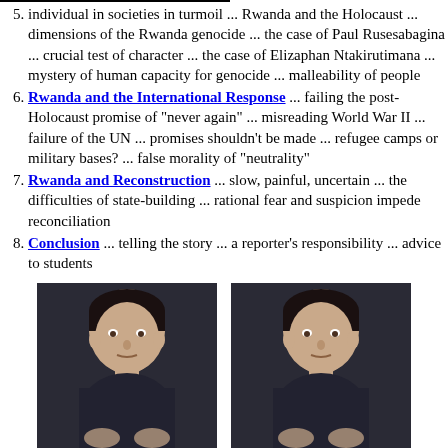individual in societies in turmoil ... Rwanda and the Holocaust ... dimensions of the Rwanda genocide ... the case of Paul Rusesabagina ... crucial test of character ... the case of Elizaphan Ntakirutimana ... mystery of human capacity for genocide ... malleability of people
Rwanda and the International Response ... failing the post-Holocaust promise of "never again" ... misreading World War II ... failure of the UN ... promises shouldn't be made ... refugee camps or military bases? ... false morality of "neutrality"
Rwanda and Reconstruction ... slow, painful, uncertain ... the difficulties of state-building ... rational fear and suspicion impede reconciliation
Conclusion ... telling the story ... a reporter's responsibility ... advice to students
[Figure (photo): Two side-by-side photos of a man with dark hair wearing a dark shirt, gesturing with his hands, against a dark background.]